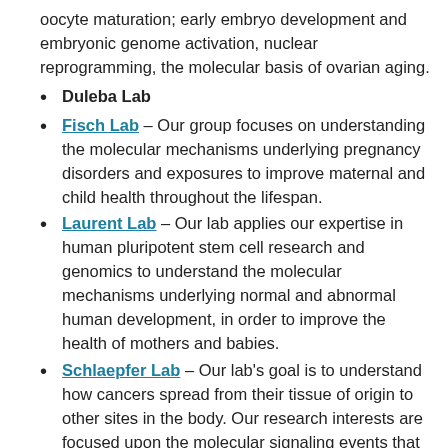oocyte maturation; early embryo development and embryonic genome activation, nuclear reprogramming, the molecular basis of ovarian aging.
Duleba Lab
Fisch Lab – Our group focuses on understanding the molecular mechanisms underlying pregnancy disorders and exposures to improve maternal and child health throughout the lifespan.
Laurent Lab – Our lab applies our expertise in human pluripotent stem cell research and genomics to understand the molecular mechanisms underlying normal and abnormal human development, in order to improve the health of mothers and babies.
Schlaepfer Lab – Our lab's goal is to understand how cancers spread from their tissue of origin to other sites in the body. Our research interests are focused upon the molecular signaling events that control cell migration and survival. We hypothesize that there are important intracellular signaling proteins that act to